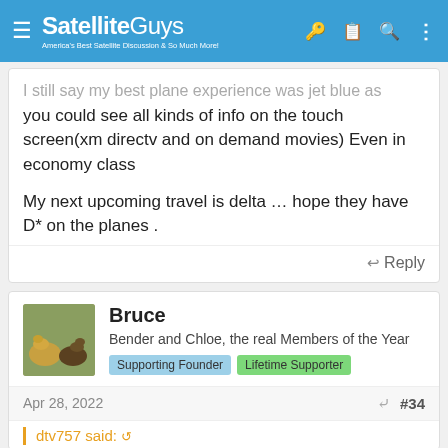SatelliteGuys — America's Best Satellite Discussion & So Much More!
I still say my best plane experience was jet blue as you could see all kinds of info on the touch screen(xm directv and on demand movies) Even in economy class

My next upcoming travel is delta … hope they have D* on the planes .
↩ Reply
Bruce
Bender and Chloe, the real Members of the Year
Supporting Founder  Lifetime Supporter
Apr 28, 2022  #34
dtv757 said: